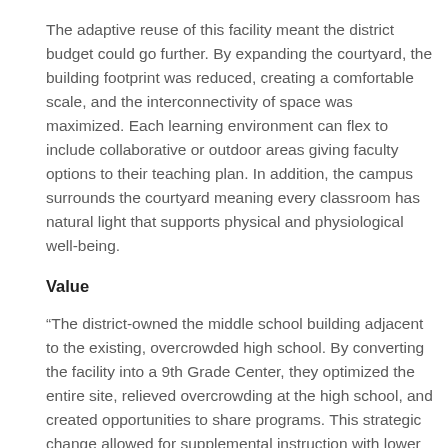The adaptive reuse of this facility meant the district budget could go further. By expanding the courtyard, the building footprint was reduced, creating a comfortable scale, and the interconnectivity of space was maximized. Each learning environment can flex to include collaborative or outdoor areas giving faculty options to their teaching plan. In addition, the campus surrounds the courtyard meaning every classroom has natural light that supports physical and physiological well-being.
Value
“The district-owned the middle school building adjacent to the existing, overcrowded high school. By converting the facility into a 9th Grade Center, they optimized the entire site, relieved overcrowding at the high school, and created opportunities to share programs. This strategic change allowed for supplemental instruction with lower student/teacher ratios and streamlined instructional focus.